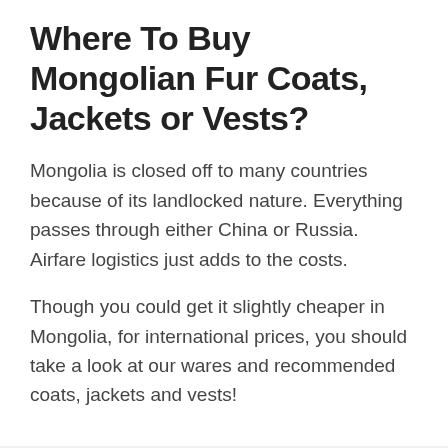Where To Buy Mongolian Fur Coats, Jackets or Vests?
Mongolia is closed off to many countries because of its landlocked nature. Everything passes through either China or Russia. Airfare logistics just adds to the costs.
Though you could get it slightly cheaper in Mongolia, for international prices, you should take a look at our wares and recommended coats, jackets and vests!
Copyright © 2022 OttomanWorld
Powered by Astra WordPress Theme
Contact | About | Cookie Policy | Privacy Policy
Manage consent